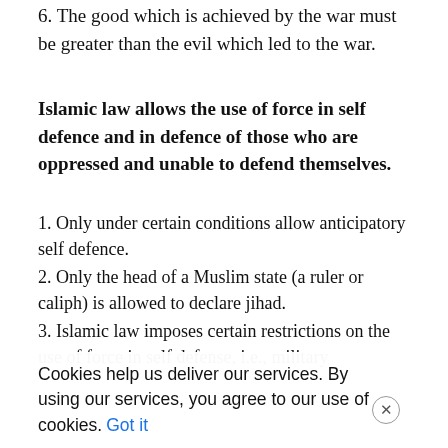6. The good which is achieved by the war must be greater than the evil which led to the war.
Islamic law allows the use of force in self defence and in defence of those who are oppressed and unable to defend themselves.
1. Only under certain conditions allow anticipatory self defence.
2. Only the head of a Muslim state (a ruler or caliph) is allowed to declare jihad.
3. Islamic law imposes certain restrictions on the use of force in self defense, i.e., military
Cookies help us deliver our services. By using our services, you agree to our use of cookies.  Got it